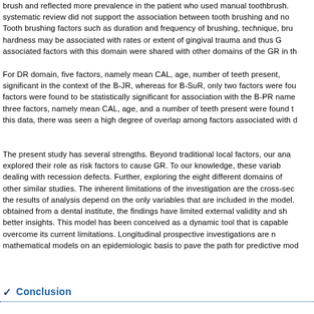brush and reflected more prevalence in the patient who used manual toothbrush. systematic review did not support the association between tooth brushing and no Tooth brushing factors such as duration and frequency of brushing, technique, bru hardness may be associated with rates or extent of gingival trauma and thus G associated factors with this domain were shared with other domains of the GR in th
For DR domain, five factors, namely mean CAL, age, number of teeth present, significant in the context of the B-JR, whereas for B-SuR, only two factors were fou factors were found to be statistically significant for association with the B-PR name three factors, namely mean CAL, age, and a number of teeth present were found t this data, there was seen a high degree of overlap among factors associated with d
The present study has several strengths. Beyond traditional local factors, our ana explored their role as risk factors to cause GR. To our knowledge, these variab dealing with recession defects. Further, exploring the eight different domains of other similar studies. The inherent limitations of the investigation are the cross-sec the results of analysis depend on the only variables that are included in the model. obtained from a dental institute, the findings have limited external validity and sh better insights. This model has been conceived as a dynamic tool that is capable overcome its current limitations. Longitudinal prospective investigations are n mathematical models on an epidemiologic basis to pave the path for predictive mod
Conclusion